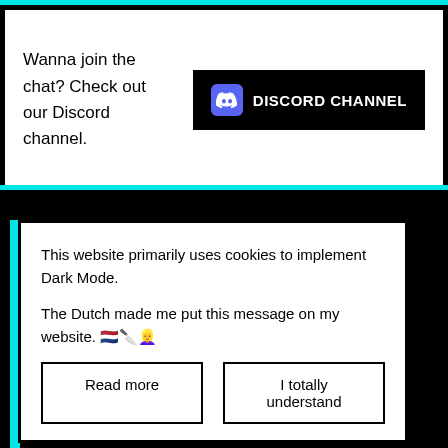Wanna join the chat? Check out our Discord channel.
[Figure (other): Discord Channel button — black rectangle with Discord logo icon and text 'DISCORD CHANNEL' in white bold font]
This website primarily uses cookies to implement Dark Mode.

The Dutch made me put this message on my website. 🇳🇱🔪👱‍♀️
Read more
I totally understand
Deluxe